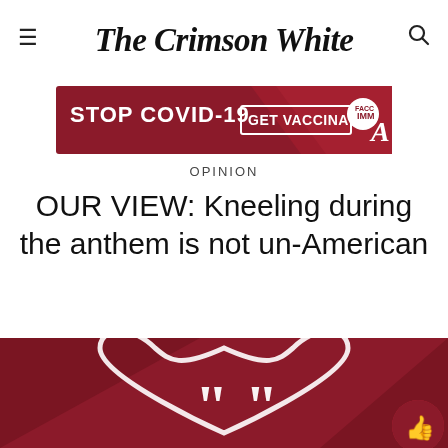The Crimson White
[Figure (infographic): STOP COVID-19 GET VACCINATED banner advertisement with University of Alabama branding]
OPINION
OUR VIEW: Kneeling during the anthem is not un-American
[Figure (illustration): Dark red/crimson background with white heart outline and large white quotation marks, with a circular thumbs-up icon in the bottom right corner]